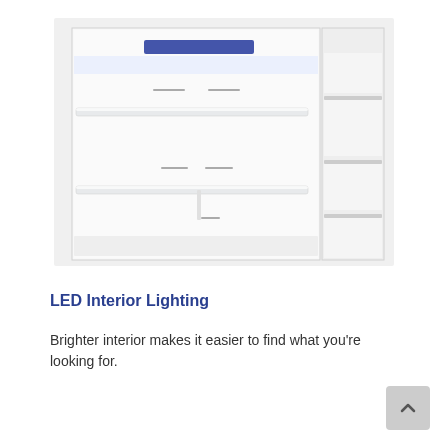[Figure (photo): Interior of an open refrigerator showing white shelves illuminated by LED lighting at the top. The refrigerator has multiple glass shelves and door compartments visible on the right side.]
LED Interior Lighting
Brighter interior makes it easier to find what you're looking for.